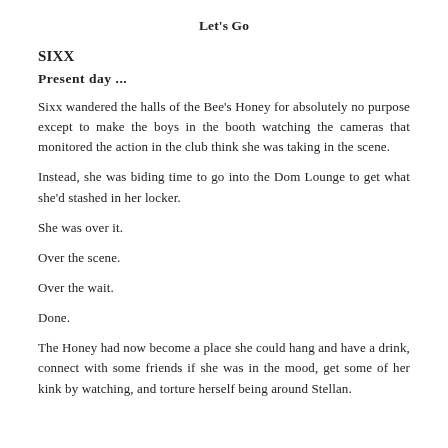Let's Go
SIXX
Present day ...
Sixx wandered the halls of the Bee's Honey for absolutely no purpose except to make the boys in the booth watching the cameras that monitored the action in the club think she was taking in the scene.
Instead, she was biding time to go into the Dom Lounge to get what she'd stashed in her locker.
She was over it.
Over the scene.
Over the wait.
Done.
The Honey had now become a place she could hang and have a drink, connect with some friends if she was in the mood, get some of her kink by watching, and torture herself being around Stellan.